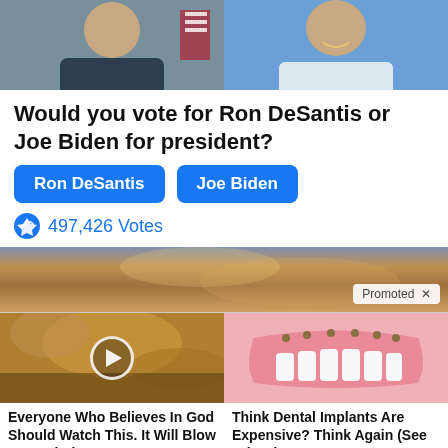[Figure (photo): Two side-by-side portrait photos: left shows a man in suit with American flag background, right shows a man in light shirt laughing against blue background]
Would you vote for Ron DeSantis or Joe Biden for president?
Ron DeSantis | Joe Biden (vote buttons)
497,426 Votes
[Figure (photo): Promotional banner image showing dramatic golden cloudy sky. Tagged 'Promoted' with X dismiss button.]
[Figure (photo): Thumbnail of golden cloudy sky with play button overlay (video ad)]
[Figure (photo): Thumbnail of dental implant illustration showing upper jaw with implants]
Everyone Who Believes In God Should Watch This. It Will Blow Your Mind
33,524
Think Dental Implants Are Expensive? Think Again (See Prices)
23,631